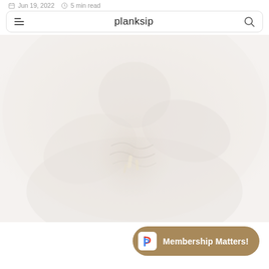Jun 19, 2022   5 min read
planksip
[Figure (photo): Faded/washed-out photo of hands holding a brain or organic material, very light and desaturated, occupying most of the page below the nav bar]
Membership Matters!